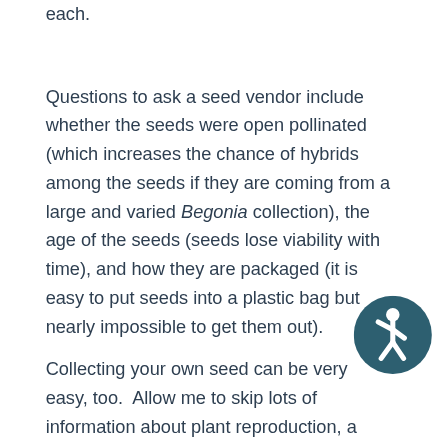there is no place for selling seeds at a dollar each.
Questions to ask a seed vendor include whether the seeds were open pollinated (which increases the chance of hybrids among the seeds if they are coming from a large and varied Begonia collection), the age of the seeds (seeds lose viability with time), and how they are packaged (it is easy to put seeds into a plastic bag but nearly impossible to get them out).
Collecting your own seed can be very easy, too.  Allow me to skip lots of information about plant reproduction, a whole separate topic altogether, and start with seed pods.  You will
[Figure (logo): Accessibility icon: dark teal circle with white human figure in motion (wheelchair accessibility symbol style)]